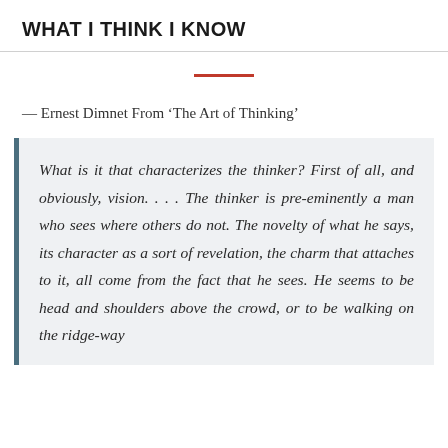WHAT I THINK I KNOW
— Ernest Dimnet From ‘The Art of Thinking’
What is it that characterizes the thinker? First of all, and obviously, vision. . . . The thinker is pre-eminently a man who sees where others do not. The novelty of what he says, its character as a sort of revelation, the charm that attaches to it, all come from the fact that he sees. He seems to be head and shoulders above the crowd, or to be walking on the ridge-way